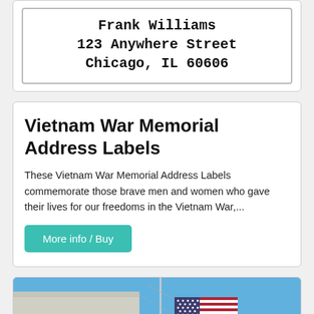[Figure (other): Mailing address label showing 'Frank Williams / 123 Anywhere Street / Chicago, IL 60606' in bold monospace font, bordered box]
Vietnam War Memorial Address Labels
These Vietnam War Memorial Address Labels commemorate those brave men and women who gave their lives for our freedoms in the Vietnam War,...
More info / Buy
[Figure (photo): Photo of an American flag and POW/MIA flag flying against a blue sky, attached to a flagpole or structure]